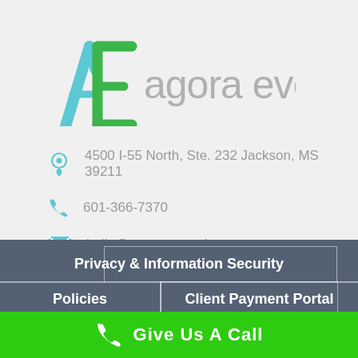[Figure (logo): Agora Eversole logo with AE monogram in blue and green, company name in gray]
4500 I-55 North, Ste. 232 Jackson, MS 39211
601-366-7370
hello@agoraeversole.com
Privacy & Information Security
Policies
Client Payment Portal
Give Us A Call